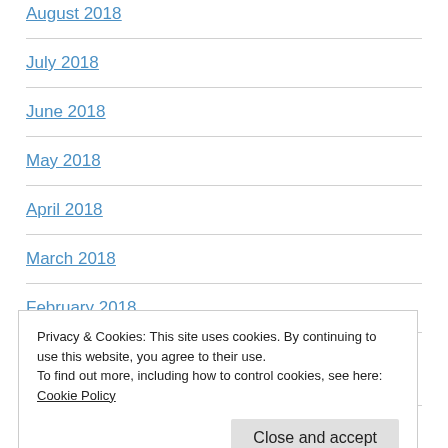August 2018
July 2018
June 2018
May 2018
April 2018
March 2018
February 2018
January 2018
Privacy & Cookies: This site uses cookies. By continuing to use this website, you agree to their use.
To find out more, including how to control cookies, see here: Cookie Policy
October 2017